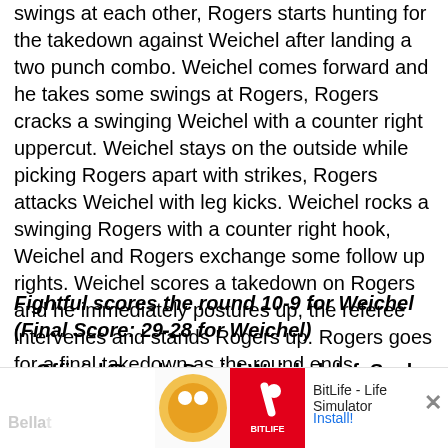swings at each other, Rogers starts hunting for the takedown against Weichel after landing a two punch combo. Weichel comes forward and he takes some swings at Rogers, Rogers cracks a swinging Weichel with a counter right uppercut. Weichel stays on the outside while picking Rogers apart with strikes, Rogers attacks Weichel with leg kicks. Weichel rocks a swinging Rogers with a counter right hook, Weichel and Rogers exchange some follow up rights. Weichel scores a takedown on Rogers and he immediately postures up, the referee intervenes and stands Rogers up. Rogers goes for a final takedown as the round ends.
Fightful scores the round 10-9 for Weichel (Final Score: 29-28 for Weichel)
Official Result: Daniel Weichel def. Saul Rogers by unanimous decision (29-28, 30-27, 29-28)
[Figure (screenshot): Advertisement banner for BitLife - Life Simulator app with Install button and close X button. Background shows faded Bellator and Round text.]